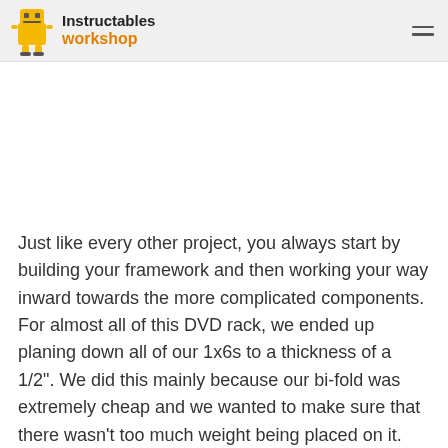Instructables workshop
[Figure (photo): Workshop project photo — large white/blank area indicating an image of a DVD rack build in progress]
Just like every other project, you always start by building your framework and then working your way inward towards the more complicated components. For almost all of this DVD rack, we ended up planing down all of our 1x6s to a thickness of a 1/2". We did this mainly because our bi-fold was extremely cheap and we wanted to make sure that there wasn't too much weight being placed on it.